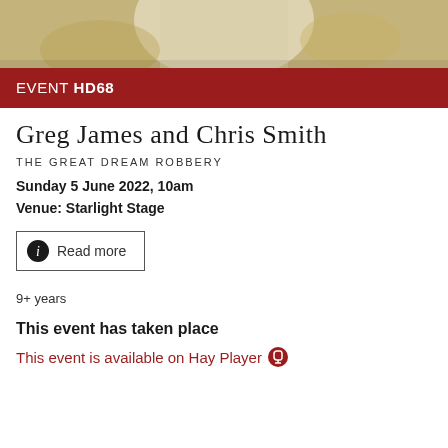[Figure (photo): Partial photo of a person in white clothing with blurred floral/autumn background, cropped at top]
EVENT HD68
Greg James and Chris Smith
THE GREAT DREAM ROBBERY
Sunday 5 June 2022, 10am
Venue: Starlight Stage
Read more
9+ years
This event has taken place
This event is available on Hay Player